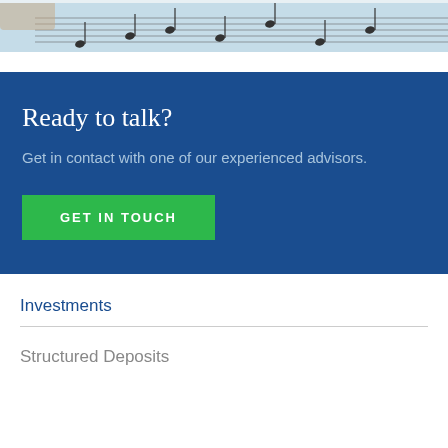[Figure (photo): Close-up of sheet music with musical notes, teal/blue tones, partial image at top of page]
Ready to talk?
Get in contact with one of our experienced advisors.
GET IN TOUCH
Investments
Structured Deposits